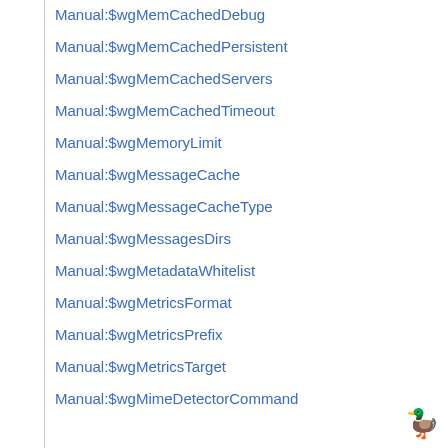Manual:$wgMemCachedDebug
Manual:$wgMemCachedPersistent
Manual:$wgMemCachedServers
Manual:$wgMemCachedTimeout
Manual:$wgMemoryLimit
Manual:$wgMessageCache
Manual:$wgMessageCacheType
Manual:$wgMessagesDirs
Manual:$wgMetadataWhitelist
Manual:$wgMetricsFormat
Manual:$wgMetricsPrefix
Manual:$wgMetricsTarget
Manual:$wgMimeDetectorCommand